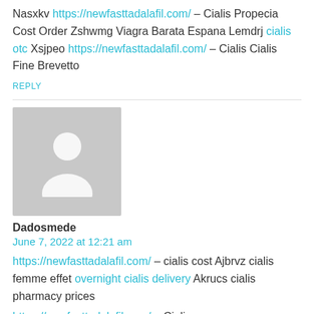Nasxkv https://newfasttadalafil.com/ – Cialis Propecia Cost Order Zshwmg Viagra Barata Espana Lemdrj cialis otc Xsjpeo https://newfasttadalafil.com/ – Cialis Cialis Fine Brevetto
REPLY
[Figure (photo): Generic user avatar silhouette on grey background]
Dadosmede
June 7, 2022 at 12:21 am
https://newfasttadalafil.com/ – cialis cost Ajbrvz cialis femme effet overnight cialis delivery Akrucs cialis pharmacy prices
https://newfasttadalafil.com/ – Cialis